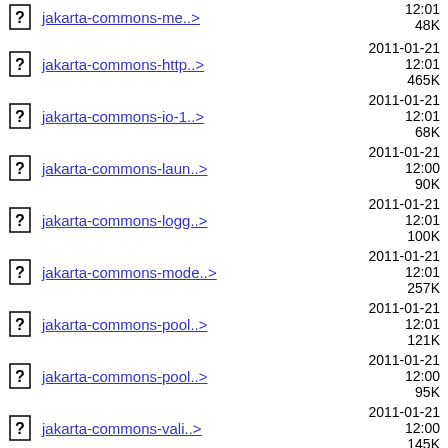jakarta-commons-me..> 2011-01-21 12:01 48K
jakarta-commons-http..> 2011-01-21 12:01 465K
jakarta-commons-io-1..> 2011-01-21 12:01 68K
jakarta-commons-laun..> 2011-01-21 12:00 90K
jakarta-commons-logg..> 2011-01-21 12:01 100K
jakarta-commons-mode..> 2011-01-21 12:01 257K
jakarta-commons-pool..> 2011-01-21 12:01 121K
jakarta-commons-pool..> 2011-01-21 12:00 95K
jakarta-commons-vali..> 2011-01-21 12:00 145K
jakarta-oro-2.0.8-3j..> 2011-01-21 12:01 173K
jakarta-taglibs-stan..> 2011-01-21 12:01 675K
jasper-1.900.1-7.fc8..> 2011-01-21 12:00 17K